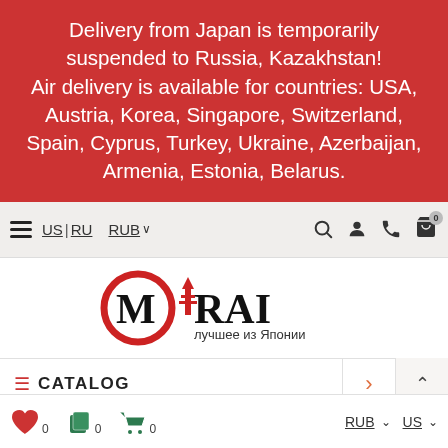Delivery from Japan is temporarily suspended to Russia, Kazakhstan! Air delivery is available for countries: USA, Austria, Korea, Singapore, Switzerland, Spain, Cyprus, Turkey, Ukraine, Azerbaijan, Armenia, Estonia, Belarus.
US | RU  RUB  [search] [user] [phone] [cart 0]
[Figure (logo): Mirai logo — red circle with stylized M and Japanese pagoda tower forming the letter i, with Cyrillic subtitle 'лучшее из Японии']
≡ CATALOG
Home → Beauty → Facial care →
♥ 0  [copy]0  [cart]0    RUB ∨  US ∨